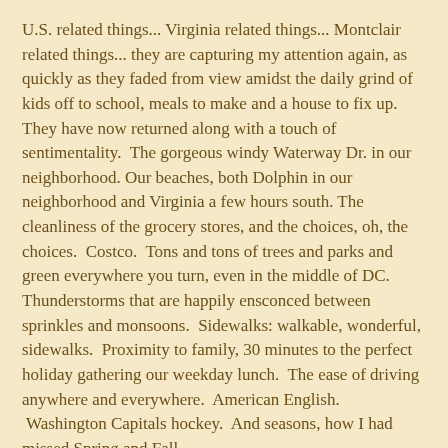U.S. related things... Virginia related things... Montclair related things... they are capturing my attention again, as quickly as they faded from view amidst the daily grind of kids off to school, meals to make and a house to fix up.  They have now returned along with a touch of sentimentality.  The gorgeous windy Waterway Dr. in our neighborhood. Our beaches, both Dolphin in our neighborhood and Virginia a few hours south. The cleanliness of the grocery stores, and the choices, oh, the choices.  Costco.  Tons and tons of trees and parks and green everywhere you turn, even in the middle of DC.  Thunderstorms that are happily ensconced between sprinkles and monsoons.  Sidewalks: walkable, wonderful, sidewalks.  Proximity to family, 30 minutes to the perfect holiday gathering our weekday lunch.  The ease of driving anywhere and everywhere.  American English.  Washington Capitals hockey.  And seasons, how I had missed Spring and Fall.
Memories are poking out through bits and pieces.  Katherine's 100-hour pin from Junior Auxiliary volunteering at the hospital.  On her last day she'll actually have over 110 hours.